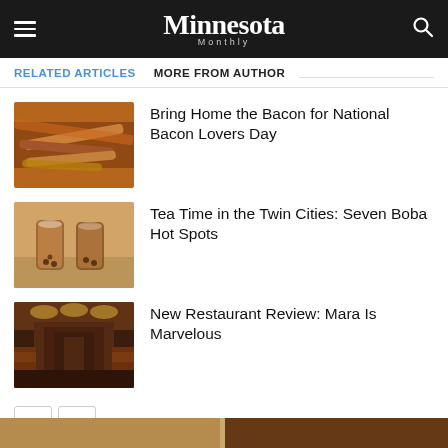Minnesota Monthly
RELATED ARTICLES   MORE FROM AUTHOR
[Figure (photo): Close-up of crispy bacon strips on a surface]
Bring Home the Bacon for National Bacon Lovers Day
[Figure (photo): Two glasses of boba milk tea on a wooden surface]
Tea Time in the Twin Cities: Seven Boba Hot Spots
[Figure (photo): Interior of a restaurant with warm lighting, booths, and long corridor]
New Restaurant Review: Mara Is Marvelous
[Figure (photo): Partial bottom strip showing another image]